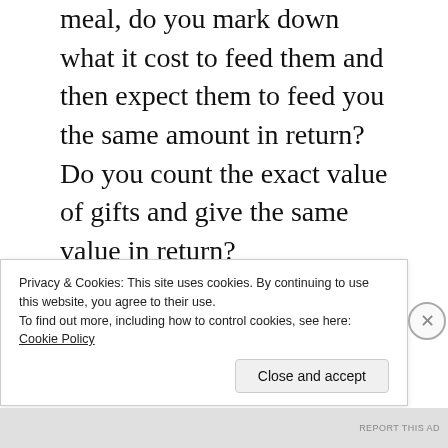meal, do you mark down what it cost to feed them and then expect them to feed you the same amount in return? Do you count the exact value of gifts and give the same value in return?
In Kabloona, de Poncin discusses the quasi-communist nature of the Eskimo economic system. For the Eskimo, hunter-gatherers living in the world’s harshest environment, the unit of exchange isn’t the item, but survival. A man whom you keep alive by giving him fish
Privacy & Cookies: This site uses cookies. By continuing to use this website, you agree to their use.
To find out more, including how to control cookies, see here: Cookie Policy
Close and accept